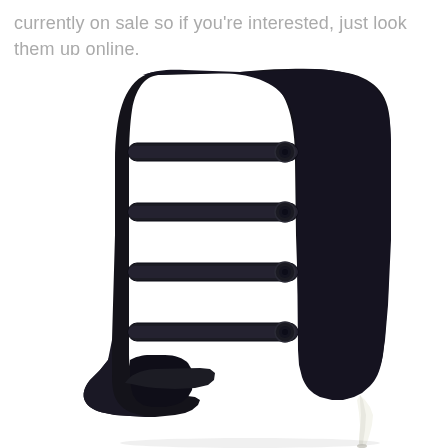currently on sale so if you're interested, just look them up online.
[Figure (photo): A black suede and leather high-heel ankle bootie with multiple horizontal strap closures featuring round snap/button hardware, a pointed toe, and a stiletto heel. The boot sits on a white background.]